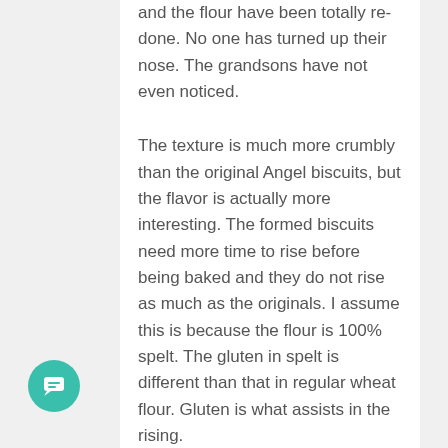and the flour have been totally re-done. No one has turned up their nose. The grandsons have not even noticed.
The texture is much more crumbly than the original Angel biscuits, but the flavor is actually more interesting. The formed biscuits need more time to rise before being baked and they do not rise as much as the originals. I assume this is because the flour is 100% spelt. The gluten in spelt is different than that in regular wheat flour. Gluten is what assists in the rising.
The original recipe calls for 1 cup of